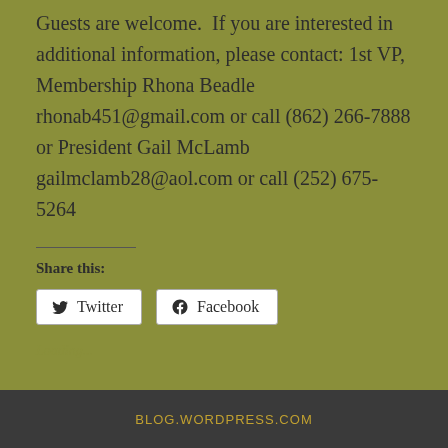Guests are welcome.  If you are interested in additional information, please contact: 1st VP, Membership Rhona Beadle rhonab451@gmail.com or call (862) 266-7888 or President Gail McLamb gailmclamb28@aol.com or call (252) 675-5264
Share this:
[Figure (other): Share buttons for Twitter and Facebook]
Loading...
BLOG.WORDPRESS.COM